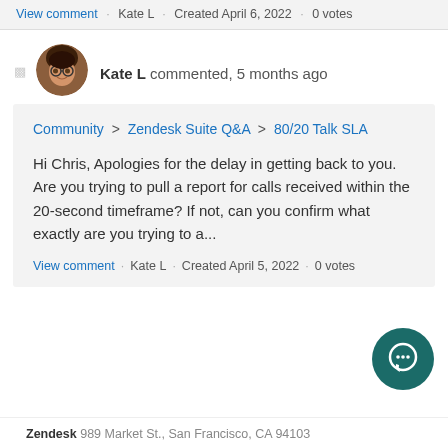View comment · Kate L · Created April 6, 2022 · 0 votes
Kate L commented, 5 months ago
Community > Zendesk Suite Q&A > 80/20 Talk SLA
Hi Chris, Apologies for the delay in getting back to you. Are you trying to pull a report for calls received within the 20-second timeframe? If not, can you confirm what exactly are you trying to a...
View comment · Kate L · Created April 5, 2022 · 0 votes
Zendesk 989 Market St., San Francisco, CA 94103